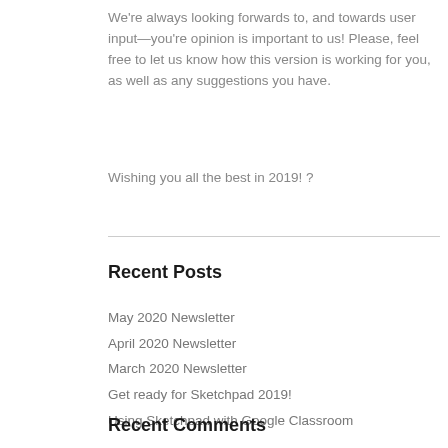We're always looking forwards to, and towards user input—you're opinion is important to us! Please, feel free to let us know how this version is working for you, as well as any suggestions you have.
Wishing you all the best in 2019! ?
Recent Posts
May 2020 Newsletter
April 2020 Newsletter
March 2020 Newsletter
Get ready for Sketchpad 2019!
Using Sketchpad with Google Classroom
Recent Comments